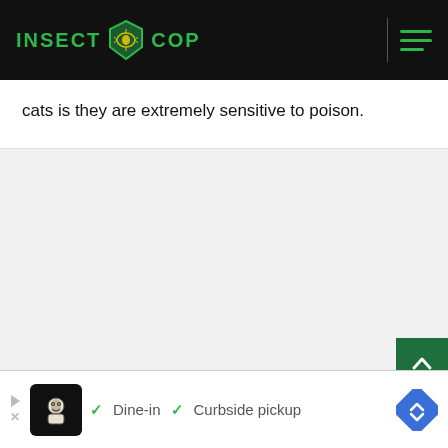INSECT COP
cats is they are extremely sensitive to poison.
[Figure (screenshot): Advertisement banner showing a restaurant with checkmarks for Dine-in and Curbside pickup options, with a navigation diamond icon]